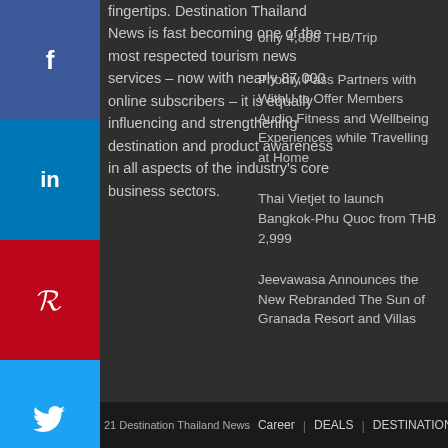fingertips. Destination Thailand News is fast becoming one of the most respected tourism news services – now with nearly 87,000 online subscribers – it is equally influencing and strengthening destination and product awareness in all aspects of the industry's core business sectors.
only 4,888 THB/Trip
Priority Pass Partners with WithU to Offer Members Audio Fitness and Wellbeing Experiences while Travelling at Home
Thai Vietjet to launch Bangkok-Phu Quoc from THB 2,999
Jeevawasa Announces the New Rebranded The Sun of Granada Resort and Villas
21 Destination Thailand News   Career | DEALS | DESTINATION